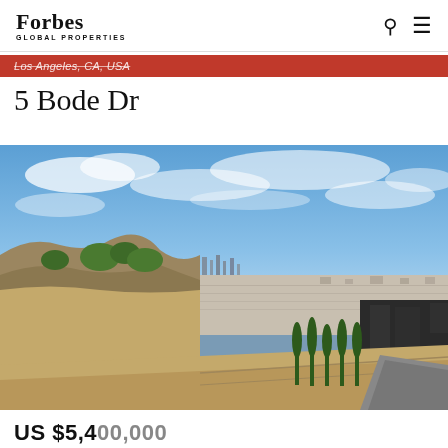Forbes Global Properties
Los Angeles, CA, USA
5 Bode Dr
[Figure (photo): Aerial panoramic photograph taken from a hillside in Los Angeles showing the LA basin skyline in the distance, hillside terrain with dry brush and cypress trees in the foreground, and the city sprawl extending to the horizon under a blue sky with scattered clouds.]
US $5,400,000